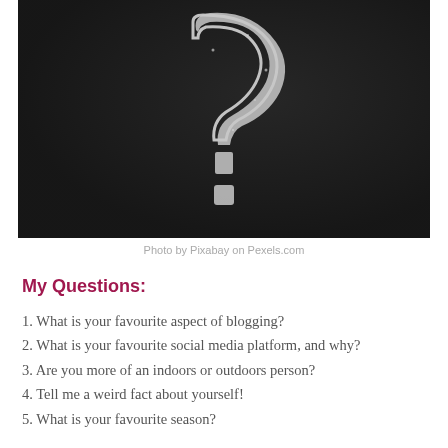[Figure (photo): A chalk question mark drawn on a dark chalkboard background]
Photo by Pixabay on Pexels.com
My Questions:
1. What is your favourite aspect of blogging?
2. What is your favourite social media platform, and why?
3. Are you more of an indoors or outdoors person?
4. Tell me a weird fact about yourself!
5. What is your favourite season?